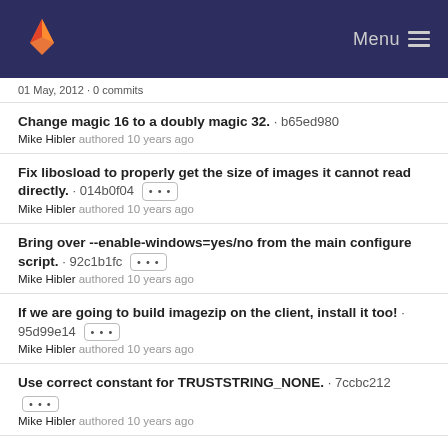Menu
01 May, 2012 · 0 commits
Change magic 16 to a doubly magic 32. · b65ed980
Mike Hibler authored 10 years ago
Fix libosload to properly get the size of images it cannot read directly. · 014b0f04 [...]
Mike Hibler authored 10 years ago
Bring over --enable-windows=yes/no from the main configure script. · 92c1b1fc [...]
Mike Hibler authored 10 years ago
If we are going to build imagezip on the client, install it too! · 95d99e14 [...]
Mike Hibler authored 10 years ago
Use correct constant for TRUSTSTRING_NONE. · 7ccbc212 [...]
Mike Hibler authored 10 years ago